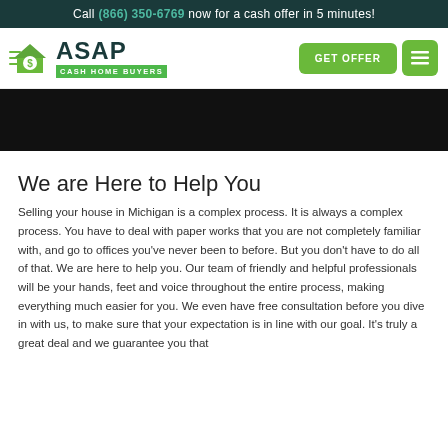Call (866) 350-6769 now for a cash offer in 5 minutes!
[Figure (logo): ASAP Cash Home Buyers logo with green house/money icon and green 'GET OFFER' button and hamburger menu button]
[Figure (photo): Dark hero image, partially cropped, showing the top of a photo scene]
We are Here to Help You
Selling your house in Michigan is a complex process. It is always a complex process. You have to deal with paper works that you are not completely familiar with, and go to offices you've never been to before. But you don't have to do all of that. We are here to help you. Our team of friendly and helpful professionals will be your hands, feet and voice throughout the entire process, making everything much easier for you. We even have free consultation before you dive in with us, to make sure that your expectation is in line with our goal. It's truly a great deal and we guarantee you that